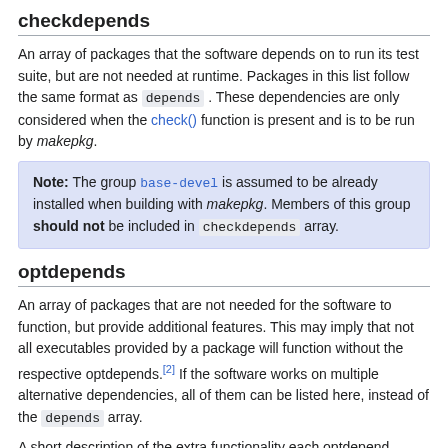checkdepends
An array of packages that the software depends on to run its test suite, but are not needed at runtime. Packages in this list follow the same format as depends . These dependencies are only considered when the check() function is present and is to be run by makepkg.
Note: The group base-devel is assumed to be already installed when building with makepkg. Members of this group should not be included in checkdepends array.
optdepends
An array of packages that are not needed for the software to function, but provide additional features. This may imply that not all executables provided by a package will function without the respective optdepends.[2] If the software works on multiple alternative dependencies, all of them can be listed here, instead of the depends array.
A short description of the extra functionality each optdepend